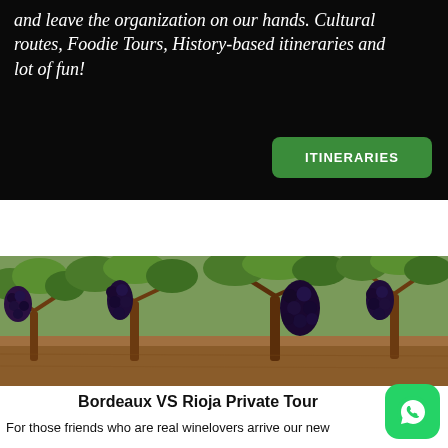and leave the organization on our hands. Cultural routes, Foodie Tours, History-based itineraries and lot of fun!
ITINERARIES
[Figure (photo): Vineyard with dark purple grape clusters hanging from vines with green leaves, sandy/reddish soil, outdoor daylight]
Bordeaux VS Rioja Private Tour
For those friends who are real winelovers arrive our new